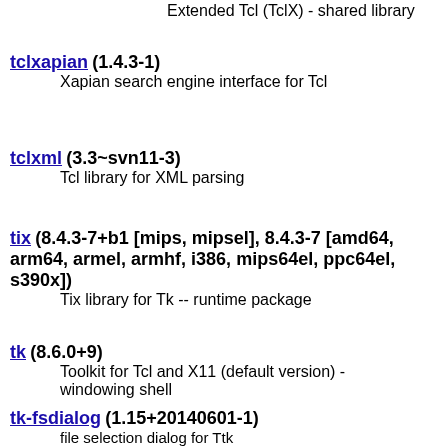Extended Tcl (TclX) - shared library
tclxapian (1.4.3-1)
    Xapian search engine interface for Tcl
tclxml (3.3~svn11-3)
    Tcl library for XML parsing
tix (8.4.3-7+b1 [mips, mipsel], 8.4.3-7 [amd64, arm64, armel, armhf, i386, mips64el, ppc64el, s390x])
    Tix library for Tk -- runtime package
tk (8.6.0+9)
    Toolkit for Tcl and X11 (default version) - windowing shell
tk-fsdialog (1.15+20140601-1)
    file selection dialog for Ttk